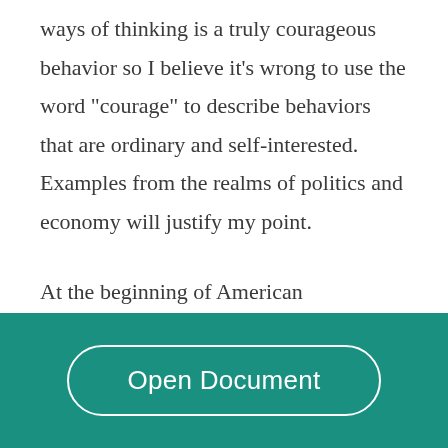ways of thinking is a truly courageous behavior so I believe it's wrong to use the word "courage" to describe behaviors that are ordinary and self-interested. Examples from the realms of politics and economy will justify my point.
At the beginning of American Revolution, most states only favored restricted independence of the states and dismissed the idea of complete independence. More conservative were the
[Figure (other): Teal/green footer bar with an 'Open Document' button styled as a white-outlined pill/capsule button]